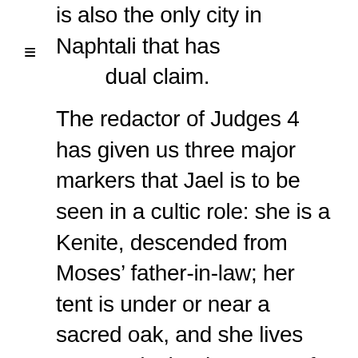is also the only city in Naphtali that has dual claim.
The redactor of Judges 4 has given us three major markers that Jael is to be seen in a cultic role: she is a Kenite, descended from Moses' father-in-law; her tent is under or near a sacred oak, and she lives near Kadesh. The poem of Judges 5 uses the single word “Kenite” to clue the reader to her cultic status. Whether or not Jael is married, her tent is seen as sacred ground, and this is the reason why Sisera enters it in both stories. In Judges 4 he is given the additional insurance that there is a